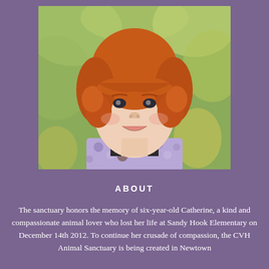[Figure (photo): Portrait photo of a young red-haired girl smiling, wearing a purple floral dress with a dark square neckline, with a blurred green outdoor background.]
ABOUT
The sanctuary honors the memory of six-year-old Catherine, a kind and compassionate animal lover who lost her life at Sandy Hook Elementary on December 14th 2012. To continue her crusade of compassion, the CVH Animal Sanctuary is being created in Newtown